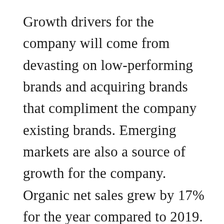Growth drivers for the company will come from devasting on low-performing brands and acquiring brands that compliment the company existing brands. Emerging markets are also a source of growth for the company. Organic net sales grew by 17% for the year compared to 2019. Also, focusing on brand expansion like plant-based items and Heinz brand extension should help the company with future growth.